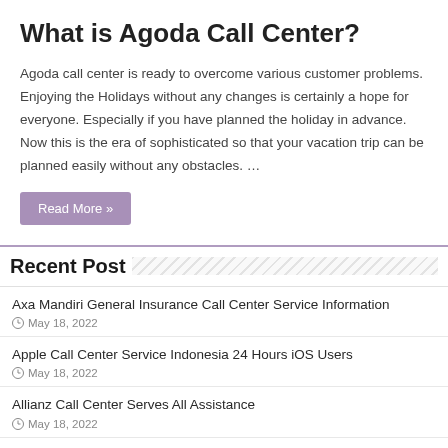What is Agoda Call Center?
Agoda call center is ready to overcome various customer problems. Enjoying the Holidays without any changes is certainly a hope for everyone. Especially if you have planned the holiday in advance. Now this is the era of sophisticated so that your vacation trip can be planned easily without any obstacles. …
Read More »
Recent Post
Axa Mandiri General Insurance Call Center Service Information
May 18, 2022
Apple Call Center Service Indonesia 24 Hours iOS Users
May 18, 2022
Allianz Call Center Serves All Assistance
May 18, 2022
Akulaku Call Center Service